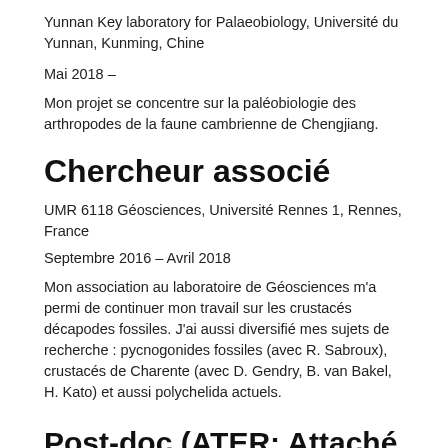Yunnan Key laboratory for Palaeobiology, Université du Yunnan, Kunming, Chine
Mai 2018 –
Mon projet se concentre sur la paléobiologie des arthropodes de la faune cambrienne de Chengjiang.
Chercheur associé
UMR 6118 Géosciences, Université Rennes 1, Rennes, France
Septembre 2016 – Avril 2018
Mon association au laboratoire de Géosciences m'a permi de continuer mon travail sur les crustacés décapodes fossiles. J'ai aussi diversifié mes sujets de recherche : pycnogonides fossiles (avec R. Sabroux), crustacés de Charente (avec D. Gendry, B. van Bakel, H. Kato) et aussi polychelida actuels.
Post-doc (ATER: Attaché Temporaire d'Enseignement et de Recharge)